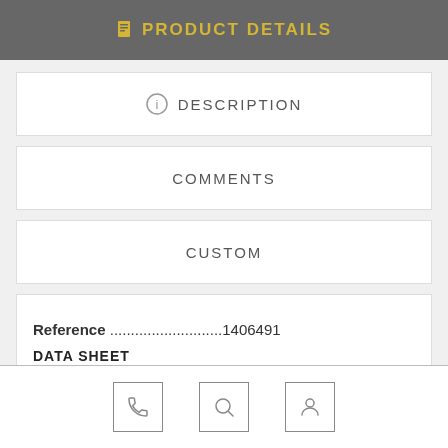PRODUCT DETAILS
DESCRIPTION
COMMENTS
CUSTOM
Reference ...........................1406491
DATA SHEET